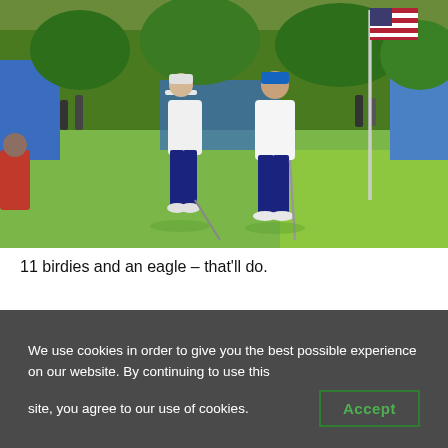[Figure (photo): Two male golfers in white polo shirts and dark trousers on a golf green near a flag with an American flag design. Green trees and spectators in the background.]
11 birdies and an eagle – that'll do.
We use cookies in order to give you the best possible experience on our website. By continuing to use this site, you agree to our use of cookies.